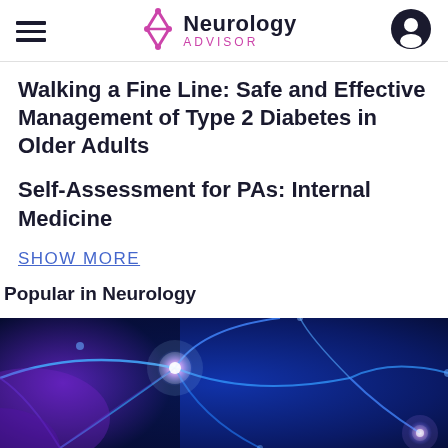Neurology Advisor
Walking a Fine Line: Safe and Effective Management of Type 2 Diabetes in Older Adults
Self-Assessment for PAs: Internal Medicine
SHOW MORE
Popular in Neurology
[Figure (photo): Stylized illustration of neurons/nerve cells glowing in blue and purple hues against a dark background]